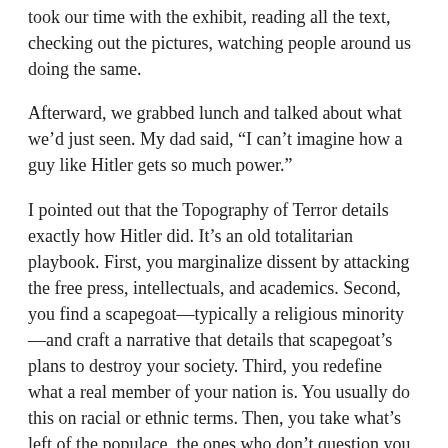took our time with the exhibit, reading all the text, checking out the pictures, watching people around us doing the same.
Afterward, we grabbed lunch and talked about what we'd just seen. My dad said, “I can’t imagine how a guy like Hitler gets so much power.”
I pointed out that the Topography of Terror details exactly how Hitler did. It’s an old totalitarian playbook. First, you marginalize dissent by attacking the free press, intellectuals, and academics. Second, you find a scapegoat—typically a religious minority—and craft a narrative that details that scapegoat’s plans to destroy your society. Third, you redefine what a real member of your nation is. You usually do this on racial or ethnic terms. Then, you take what’s left of the populace, the ones who don’t question you, the ones who hold the same religious beliefs as you, the ones who look enough like you so you feel pure, and you start picking fights and building walls.